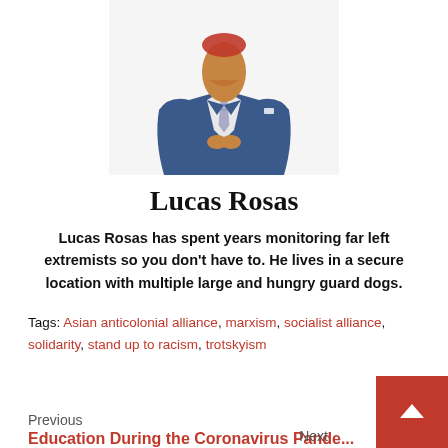[Figure (illustration): A man wearing a blue suit with a patterned tie, standing with hands clasped in front, shown from chest up, face cropped at top of image.]
Lucas Rosas
Lucas Rosas has spent years monitoring far left extremists so you don't have to. He lives in a secure location with multiple large and hungry guard dogs.
Tags: Asian anticolonial alliance, marxism, socialist alliance, solidarity, stand up to racism, trotskyism
Previous
Education During the Coronavirus Pande...
Next